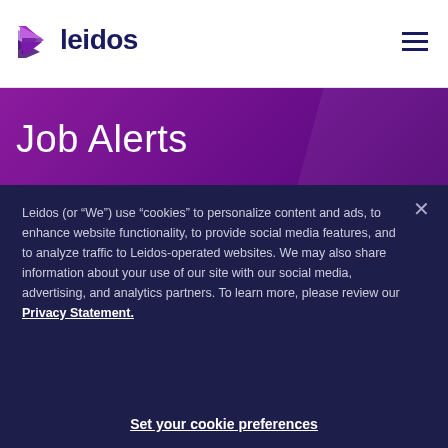[Figure (logo): Leidos company logo with purple/navy triangle arrow icon and 'leidos' wordmark in dark navy]
Job Alerts
Sign up to receive proactive alerts for the latest roles at Leidos directly to your inbox and matched to your
Leidos (or “We”) use “cookies” to personalize content and ads, to enhance website functionality, to provide social media features, and to analyze traffic to Leidos-operated websites. We may also share information about your use of our site with our social media, advertising, and analytics partners. To learn more, please review our Privacy Statement.
Set your cookie preferences